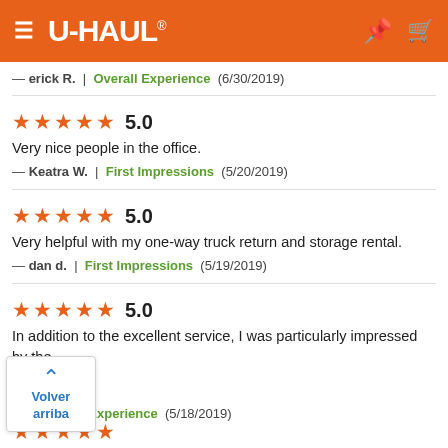U-HAUL
— erick R.  |  Overall Experience  (6/30/2019)
★★★★★ 5.0
Very nice people in the office.
— Keatra W.  |  First Impressions  (5/20/2019)
★★★★★ 5.0
Very helpful with my one-way truck return and storage rental.
— dan d.  |  First Impressions  (5/19/2019)
★★★★★ 5.0
In addition to the excellent service, I was particularly impressed by the
...  |  Overall Experience  (5/18/2019)
Volver arriba